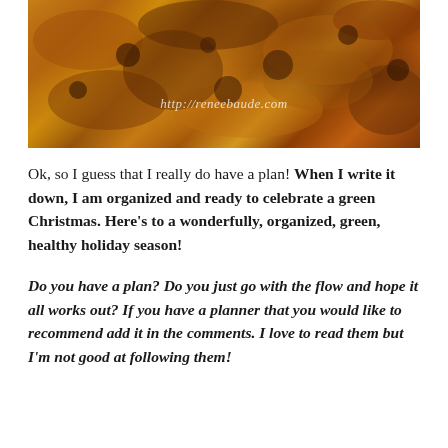[Figure (photo): Close-up photo of baked goods with golden-brown and dark crumbly texture, with watermark text 'http://reneebaude.com' overlaid]
Ok, so I guess that I really do have a plan! When I write it down, I am organized and ready to celebrate a green Christmas. Here's to a wonderfully, organized, green, healthy holiday season!
Do you have a plan? Do you just go with the flow and hope it all works out? If you have a planner that you would like to recommend add it in the comments. I love to read them but I'm not good at following them!